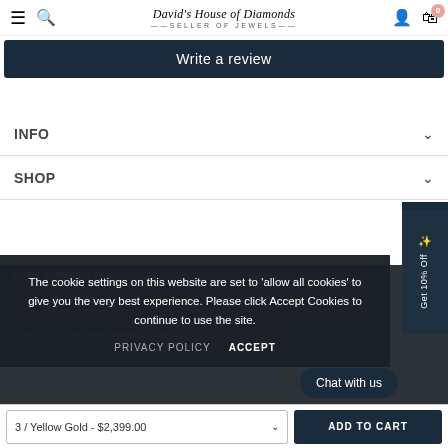David's House of Diamonds — SELLER OF JEWELS — [hamburger] [search] [user] [cart: 0]
Write a review
INFO
SHOP
STAY CONNECTED
SIGN UP FOR OUR NEWSLETTER
The cookie settings on this website are set to 'allow all cookies' to give you the very best experience. Please click Accept Cookies to continue to use the site.
PRIVACY POLICY   ACCEPT
Chat with us
Get 10% Off
3 / Yellow Gold - $2,399.00   ADD TO CART